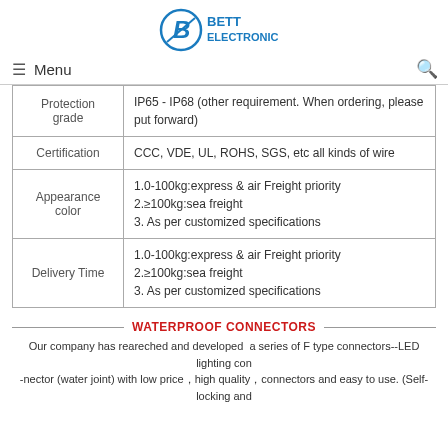[Figure (logo): Bett Electronic company logo with circular B icon and text BETT ELECTRONIC in blue]
≡ Menu   🔍
| Property | Value |
| --- | --- |
| Protection grade | IP65 - IP68 (other requirement. When ordering, please put forward) |
| Certification | CCC, VDE, UL, ROHS, SGS, etc all kinds of wire |
| Appearance color | 1.0-100kg:express & air Freight priority
2.≥100kg:sea freight
3. As per customized specifications |
| Delivery Time | 1.0-100kg:express & air Freight priority
2.≥100kg:sea freight
3. As per customized specifications |
WATERPROOF CONNECTORS
Our company has reareched and developed a series of F type connectors--LED lighting con -nector (water joint) with low price, high quality, connectors and easy to use. (Self-locking and